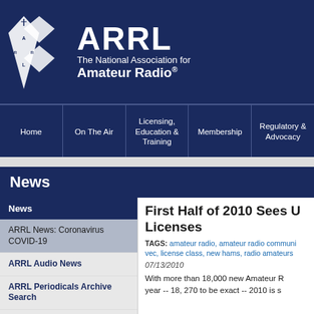[Figure (logo): ARRL logo with diamond shapes and text 'ARRL The National Association for Amateur Radio' on dark navy background]
Home | On The Air | Licensing, Education & Training | Membership | Regulatory & Advocacy
News
News
ARRL News: Coronavirus COVID-19
ARRL Audio News
ARRL Periodicals Archive Search
QST
First Half of 2010 Sees U[p in] Licenses
TAGS: amateur radio, amateur radio communi[ty], vec, license class, new hams, radio amateurs
07/13/2010
With more than 18,000 new Amateur [Radio licenses this] year -- 18, 270 to be exact -- 2010 is s[haping up]